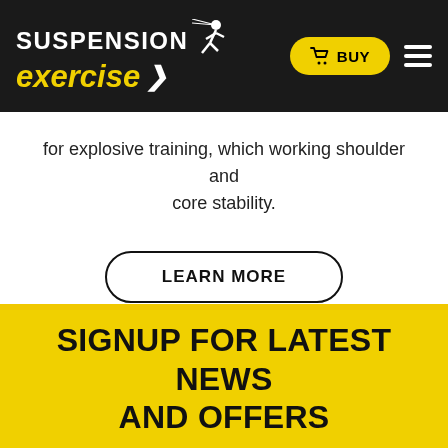SUSPENSION exercise — BUY (cart icon) — hamburger menu
for explosive training, which working shoulder and core stability.
LEARN MORE
SIGNUP FOR LATEST NEWS AND OFFERS